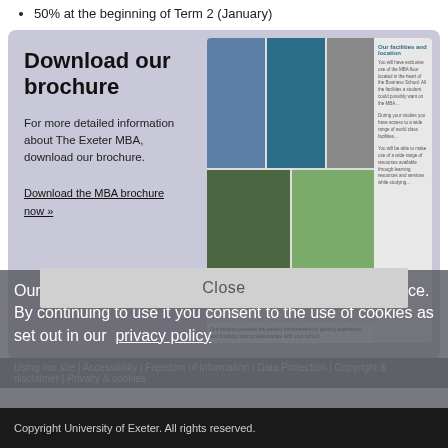50% at the beginning of Term 2 (January)
Download our brochure
For more detailed information about The Exeter MBA, download our brochure.
Download the MBA brochure now »
[Figure (photo): Brochure cover showing multiple photos of university campus, students, and location map]
Our site uses cookies to help give you a better experience. By continuing to use it you consent to the use of cookies as set out in our  privacy policy
Using our site | Accessibility | Freedom of Information | Data Protection | Copyright & disclaimer | Privacy & cookies
Copyright University of Exeter. All rights reserved.